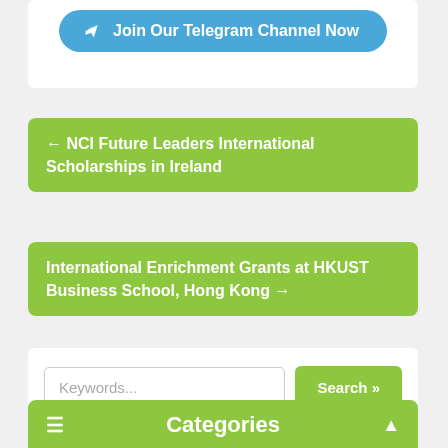[Figure (other): Telegram channel join button with airplane icon on blue rounded background]
← NCI Future Leaders International Scholarships in Ireland
International Enrichment Grants at HKUST Business School, Hong Kong →
Keywords... Search »
Categories